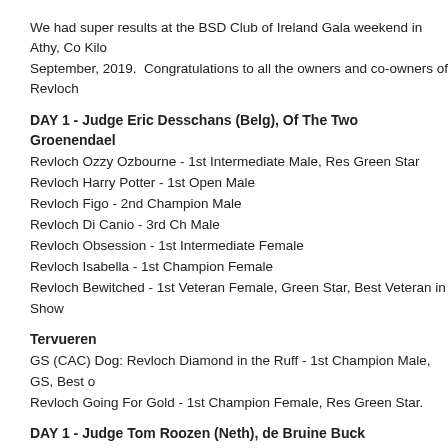We had super results at the BSD Club of Ireland Gala weekend in Athy, Co Kilo September, 2019.  Congratulations to all the owners and co-owners of Revloch
DAY 1 - Judge Eric Desschans (Belg), Of The Two Groenendael
Revloch Ozzy Ozbourne - 1st Intermediate Male, Res Green Star
Revloch Harry Potter - 1st Open Male
Revloch Figo - 2nd Champion Male
Revloch Di Canio - 3rd Ch Male
Revloch Obsession - 1st Intermediate Female
Revloch Isabella - 1st Champion Female
Revloch Bewitched - 1st Veteran Female, Green Star, Best Veteran in Show
Tervueren
GS (CAC) Dog: Revloch Diamond in the Ruff - 1st Champion Male, GS, Best o
Revloch Going For Gold - 1st Champion Female, Res Green Star.
DAY 1 - Judge Tom Roozen (Neth), de Bruine Buck
Groenendael
Revloch Ozzy Ozbourne - 1st Intermediate Male
Revloch Harry Potter - 2nd Open Male
Revloch Figo - 3rd Champion Male
Revloch Di Canio - 1st Ch Male, Green Star, Best of Breed, Reserve Best in S